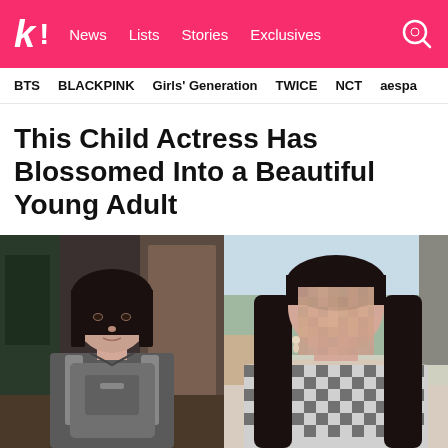K! News  Lists  Stories  Exclusives
BTS  BLACKPINK  Girls' Generation  TWICE  NCT  aespa
This Child Actress Has Blossomed Into a Beautiful Young Adult
[Figure (photo): Side-by-side photos of a young actress: left photo shows her as a child with a blunt bob haircut and backpack; right photo shows her as a young adult with long straight hair and a checkered top, face pixelated.]